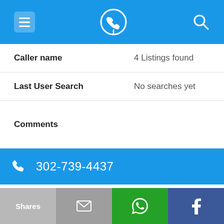Navigation bar with menu, phone locator logo, and search icon
| Field | Value |
| --- | --- |
| Caller name | 4 Listings found |
| Last User Search | No searches yet |
| Comments |  |
302-739-4437
| Field | Value |
| --- | --- |
| Alternate Form | 3027394437 |
| Caller name | 4 Listings found |
| Last User Search |  |
Shares | [email] | [WhatsApp] | [Facebook]